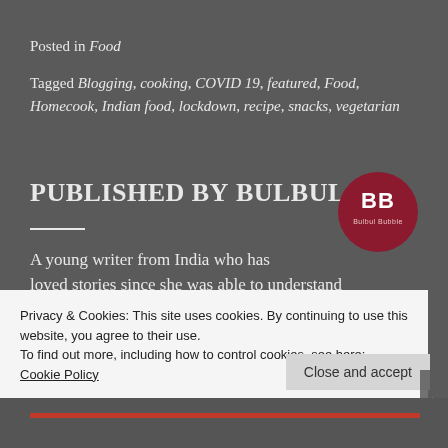Posted in Food
Tagged Blogging, cooking, COVID 19, featured, Food, Homecook, Indian food, lockdown, recipe, snacks, vegetarian
Published by Bulbul
[Figure (logo): Bulbul Bubble logo — dark red circle with BB letters and 'Bulbul Bubble' text]
A young writer from India who has loved stories since she was able to understand
Privacy & Cookies: This site uses cookies. By continuing to use this website, you agree to their use.
To find out more, including how to control cookies, see here: Cookie Policy